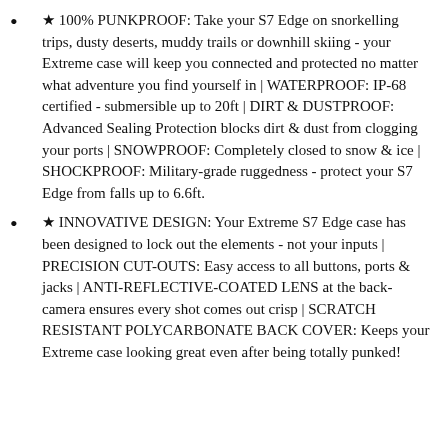★ 100% PUNKPROOF: Take your S7 Edge on snorkelling trips, dusty deserts, muddy trails or downhill skiing - your Extreme case will keep you connected and protected no matter what adventure you find yourself in | WATERPROOF: IP-68 certified - submersible up to 20ft | DIRT & DUSTPROOF: Advanced Sealing Protection blocks dirt & dust from clogging your ports | SNOWPROOF: Completely closed to snow & ice | SHOCKPROOF: Military-grade ruggedness - protect your S7 Edge from falls up to 6.6ft.
★ INNOVATIVE DESIGN: Your Extreme S7 Edge case has been designed to lock out the elements - not your inputs | PRECISION CUT-OUTS: Easy access to all buttons, ports & jacks | ANTI-REFLECTIVE-COATED LENS at the back-camera ensures every shot comes out crisp | SCRATCH RESISTANT POLYCARBONATE BACK COVER: Keeps your Extreme case looking great even after being totally punked!